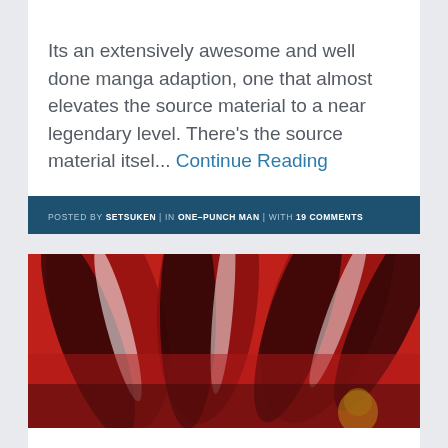Its an extensively awesome and well done manga adaption, one that almost elevates the source material to a near legendary level. There's the source material itsel... Continue Reading
POSTED BY SETSUKEN | IN ONE-PUNCH MAN | WITH 19 COMMENTS
[Figure (illustration): Red-toned manga/anime artwork showing dramatic action scene with feather or wing-like elements in red and black colors with light flares]